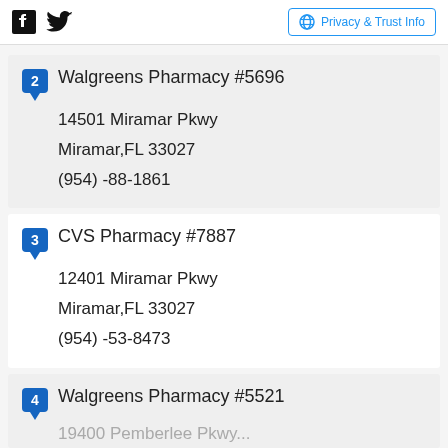Facebook Twitter | Privacy & Trust Info
2 Walgreens Pharmacy #5696
14501 Miramar Pkwy
Miramar,FL 33027
(954) -88-1861
3 CVS Pharmacy #7887
12401 Miramar Pkwy
Miramar,FL 33027
(954) -53-8473
4 Walgreens Pharmacy #5521
ADVERTISEMENT